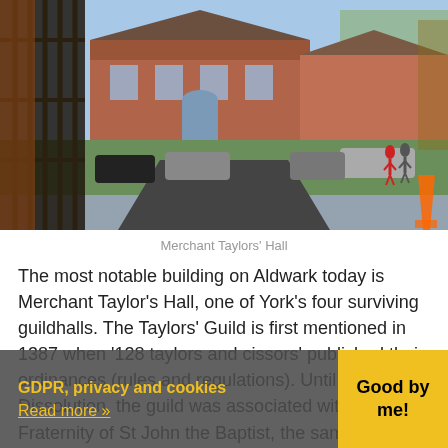[Figure (photo): Photograph of Merchant Taylors' Hall in York, showing iron gates in the foreground left, brick buildings with cars parked and a driveway leading to the hall entrance, taken on an autumn day with bare trees visible.]
Merchant Taylors' Hall
The most notable building on Aldwark today is Merchant Taylor's Hall, one of York's four surviving guildhalls. The Taylors' Guild is first mentioned in 1387 when '128 taylors and cissors' published their ordinances (rules and regulations). Until the Dissolution, the guild was associated with the Fraternity of St John the Baptist, the same patron saint of other guilds? Merchant thought that the Taylors met in Petre Hall o Helen-on-the-Walls until, in 1415 it was g
GDPR, privacy and cookies
Read more »
Good by me!